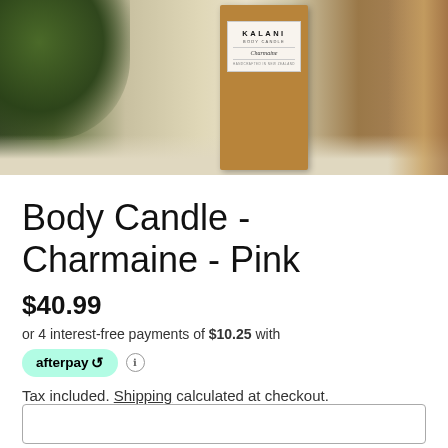[Figure (photo): Product photo of a Kalani Body Candle in a kraft paper box with white label showing brand name KALANI, BODY CANDLE, Charmaine, on a light surface with ferns in background]
Body Candle - Charmaine - Pink
$40.99
or 4 interest-free payments of $10.25 with
[Figure (logo): Afterpay logo badge in mint green with afterpay and loop symbol]
Tax included. Shipping calculated at checkout.